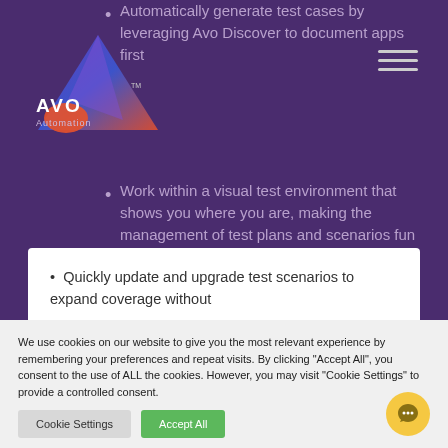[Figure (logo): Avo Automation logo — triangular shape in purple/blue/orange gradient with 'AVO Automation' text]
Automatically generate test cases by leveraging Avo Discover to document apps first
Work within a visual test environment that shows you where you are, making the management of test plans and scenarios fun and simple without writing code
Quickly update and upgrade test scenarios to expand coverage without
We use cookies on our website to give you the most relevant experience by remembering your preferences and repeat visits. By clicking "Accept All", you consent to the use of ALL the cookies. However, you may visit "Cookie Settings" to provide a controlled consent.